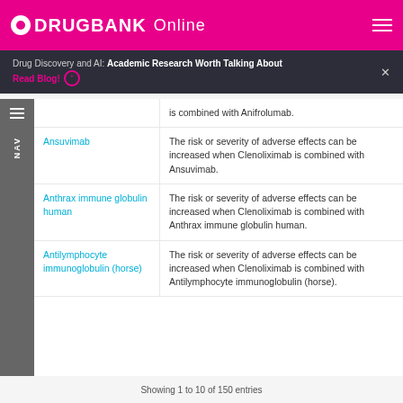DRUGBANK Online
Drug Discovery and AI: Academic Research Worth Talking About Read Blog!
| Drug | Interaction |
| --- | --- |
|  | is combined with Anifrolumab. |
| Ansuvimab | The risk or severity of adverse effects can be increased when Clenoliximab is combined with Ansuvimab. |
| Anthrax immune globulin human | The risk or severity of adverse effects can be increased when Clenoliximab is combined with Anthrax immune globulin human. |
| Antilymphocyte immunoglobulin (horse) | The risk or severity of adverse effects can be increased when Clenoliximab is combined with Antilymphocyte immunoglobulin (horse). |
Showing 1 to 10 of 150 entries